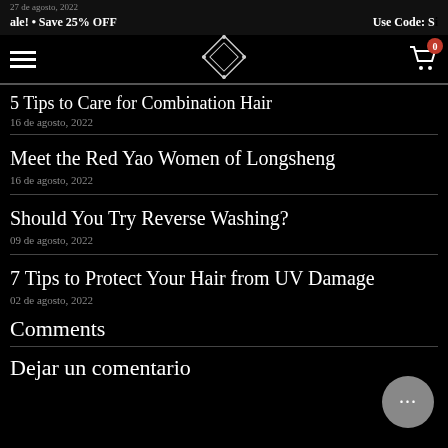ale! • Save 25% OFF   Use Code: S...
27 de agosto, 2022
5 Tips to Care for Combination Hair
16 de agosto, 2022
Meet the Red Yao Women of Longsheng
16 de agosto, 2022
Should You Try Reverse Washing?
09 de agosto, 2022
7 Tips to Protect Your Hair from UV Damage
02 de agosto, 2022
Comments
Dejar un comentario